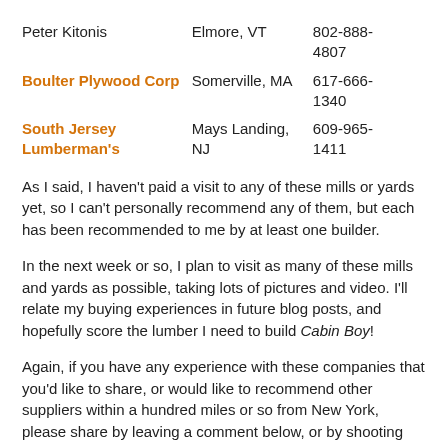| Name | Location | Phone |
| --- | --- | --- |
| Peter Kitonis | Elmore, VT | 802-888-4807 |
| Boulter Plywood Corp | Somerville, MA | 617-666-1340 |
| South Jersey Lumberman's | Mays Landing, NJ | 609-965-1411 |
As I said, I haven't paid a visit to any of these mills or yards yet, so I can't personally recommend any of them, but each has been recommended to me by at least one builder.
In the next week or so, I plan to visit as many of these mills and yards as possible, taking lots of pictures and video. I'll relate my buying experiences in future blog posts, and hopefully score the lumber I need to build Cabin Boy!
Again, if you have any experience with these companies that you'd like to share, or would like to recommend other suppliers within a hundred miles or so from New York, please share by leaving a comment below, or by shooting me an email at john@unlikelyboatbuilder.com.